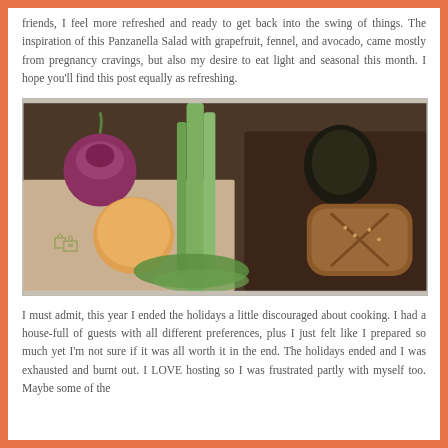friends, I feel more refreshed and ready to get back into the swing of things. The inspiration of this Panzanella Salad with grapefruit, fennel, and avocado, came mostly from pregnancy cravings, but also my desire to eat light and seasonal this month. I hope you'll find this post equally as refreshing.
[Figure (photo): Overhead photo on a wooden surface showing ingredients for Panzanella Salad: a red onion, a fennel bulb with long green stalks and fronds, a grapefruit/orange, an avocado, and a rustic loaf of bread, arranged on a paper grocery bag and a dark wooden cutting board.]
I must admit, this year I ended the holidays a little discouraged about cooking. I had a house-full of guests with all different preferences, plus I just felt like I prepared so much yet I'm not sure if it was all worth it in the end. The holidays ended and I was exhausted and burnt out. I LOVE hosting so I was frustrated partly with myself too. Maybe some of the